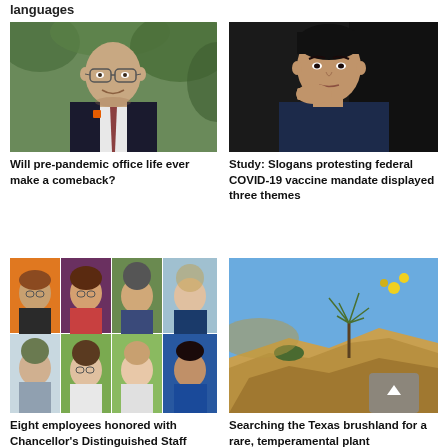languages
[Figure (photo): Portrait of a bald man with glasses wearing a dark suit with tie, smiling outdoors with green foliage background]
Will pre-pandemic office life ever make a comeback?
[Figure (photo): Portrait of an Asian man in a dark jacket, hand on chin, thoughtful expression, dark background]
Study: Slogans protesting federal COVID-19 vaccine mandate displayed three themes
[Figure (photo): Collage of eight employee headshots - four on top row and four on bottom row with various backgrounds]
Eight employees honored with Chancellor's Distinguished Staff Award
[Figure (photo): Rocky Texas brushland landscape with yucca plant on cliff edge, blue sky background]
Searching the Texas brushland for a rare, temperamental plant